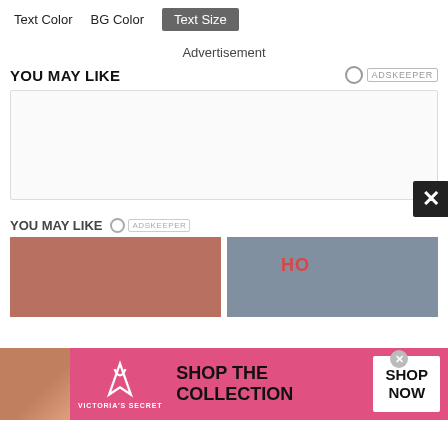Text Color   BG Color   Text Size
Advertisement
YOU MAY LIKE
[Figure (other): Empty ad content box with white/light gray background and a dark X close button at bottom right]
YOU MAY LIKE
[Figure (photo): Two thumbnail images side by side: left shows a close-up of round reddish-brown objects, right shows two women with text 'HO' overlaid]
[Figure (infographic): Victoria's Secret pink banner ad with woman photo on left, VS logo and brand name, text SHOP THE COLLECTION, and white SHOP NOW button on right]